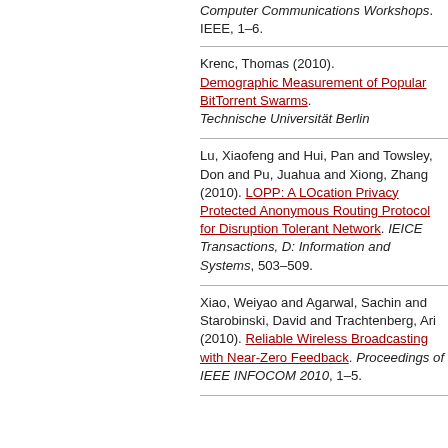Computer Communications Workshops. IEEE, 1–6.
Krenc, Thomas (2010). Demographic Measurement of Popular BitTorrent Swarms. Technische Universität Berlin
Lu, Xiaofeng and Hui, Pan and Towsley, Don and Pu, Juahua and Xiong, Zhang (2010). LOPP: A LOcation Privacy Protected Anonymous Routing Protocol for Disruption Tolerant Network. IEICE Transactions, D: Information and Systems, 503–509.
Xiao, Weiyao and Agarwal, Sachin and Starobinski, David and Trachtenberg, Ari (2010). Reliable Wireless Broadcasting with Near-Zero Feedback. Proceedings of IEEE INFOCOM 2010, 1–5.